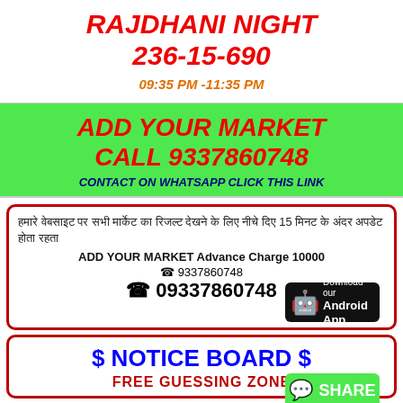RAJDHANI NIGHT
236-15-690
09:35 PM -11:35 PM
ADD YOUR MARKET
CALL 9337860748
CONTACT ON WHATSAPP CLICK THIS LINK
Hindi text block about market rules, 15 days advance, ADD YOUR MARKET Advance Charge 10000
☎ 9337860748
☎ 09337860748
[Figure (infographic): Android App download badge (black) and WhatsApp SHARE button (green)]
$ NOTICE BOARD $
FREE GUESSING ZONE